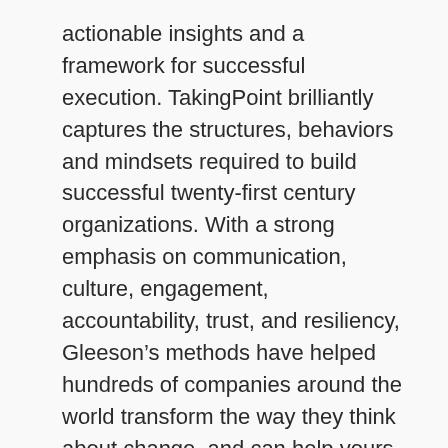actionable insights and a framework for successful execution. TakingPoint brilliantly captures the structures, behaviors and mindsets required to build successful twenty-first century organizations. With a strong emphasis on communication, culture, engagement, accountability, trust, and resiliency, Gleeson's methods have helped hundreds of companies around the world transform the way they think about change, and can help yours do the same.